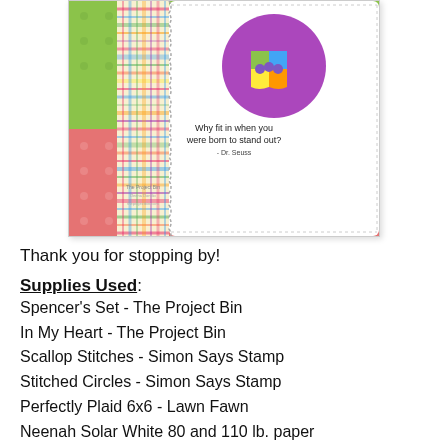[Figure (photo): A handmade greeting card showing a colorful puzzle piece heart inside a purple circle, with a plaid washi tape strip on the left side, on a green polka dot and red background. The card reads 'Why fit in when you were born to stand out? - Dr. Seuss']
Thank you for stopping by!
Supplies Used:
Spencer's Set - The Project Bin
In My Heart - The Project Bin
Scallop Stitches - Simon Says Stamp
Stitched Circles - Simon Says Stamp
Perfectly Plaid 6x6 - Lawn Fawn
Neenah Solar White 80 and 110 lb. paper